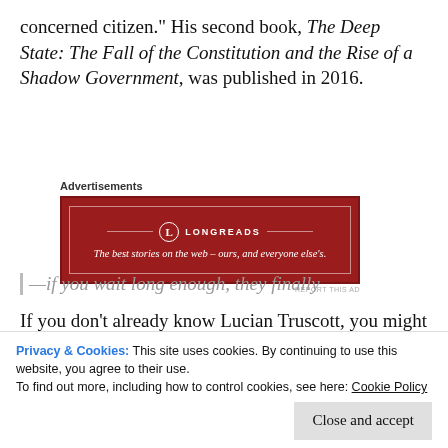concerned citizen." His second book, The Deep State: The Fall of the Constitution and the Rise of a Shadow Government, was published in 2016.
[Figure (other): Longreads advertisement banner — red background with logo and tagline: 'The best stories on the web — ours, and everyone else's.']
If you don't already know Lucian Truscott, you might enjoy meeting him via his Newsletter. He put his finger in America's mortal racism
Privacy & Cookies: This site uses cookies. By continuing to use this website, you agree to their use.
To find out more, including how to control cookies, see here: Cookie Policy
Close and accept
—if you wait long enough, they finally